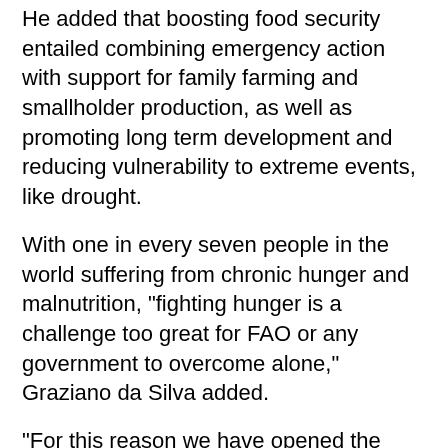He added that boosting food security entailed combining emergency action with support for family farming and smallholder production, as well as promoting long term development and reducing vulnerability to extreme events, like drought.
With one in every seven people in the world suffering from chronic hunger and malnutrition, "fighting hunger is a challenge too great for FAO or any government to overcome alone," Graziano da Silva added.
"For this reason we have opened the doors of FAO to new allies with whom we share a common set of principles," he said.
Graziano da Silva was on an official visit to Spain and on Wednesday took part in the first edition of the